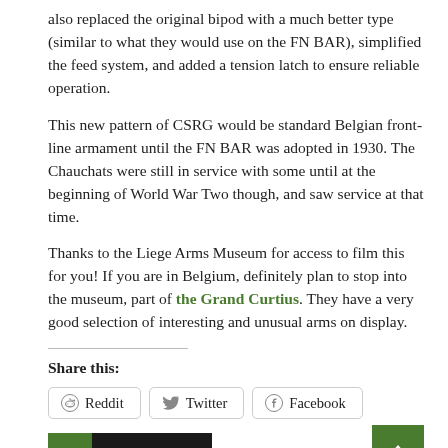also replaced the original bipod with a much better type (similar to what they would use on the FN BAR), simplified the feed system, and added a tension latch to ensure reliable operation.
This new pattern of CSRG would be standard Belgian front-line armament until the FN BAR was adopted in 1930. The Chauchats were still in service with some until at the beginning of World War Two though, and saw service at that time.
Thanks to the Liege Arms Museum for access to film this for you! If you are in Belgium, definitely plan to stop into the museum, part of the Grand Curtius. They have a very good selection of interesting and unusual arms on display.
Share this:
Reddit
Twitter
Facebook
BELGIUM